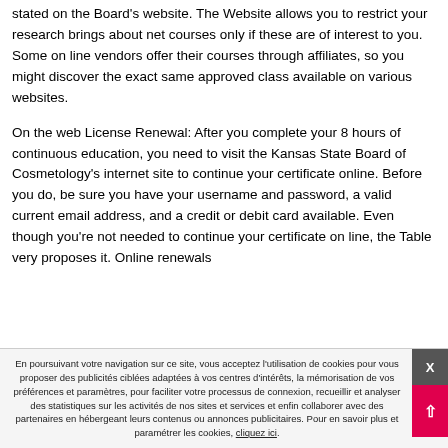stated on the Board's website. The Website allows you to restrict your research brings about net courses only if these are of interest to you. Some on line vendors offer their courses through affiliates, so you might discover the exact same approved class available on various websites.
On the web License Renewal: After you complete your 8 hours of continuous education, you need to visit the Kansas State Board of Cosmetology's internet site to continue your certificate online. Before you do, be sure you have your username and password, a valid current email address, and a credit or debit card available. Even though you're not needed to continue your certificate on line, the Table very proposes it. Online renewals
En poursuivant votre navigation sur ce site, vous acceptez l'utilisation de cookies pour vous proposer des publicités ciblées adaptées à vos centres d'intérêts, la mémorisation de vos préférences et paramètres, pour faciliter votre processus de connexion, recueillir et analyser des statistiques sur les activités de nos sites et services et enfin collaborer avec des partenaires en hébergeant leurs contenus ou annonces publicitaires. Pour en savoir plus et paramétrer les cookies, cliquez ici.